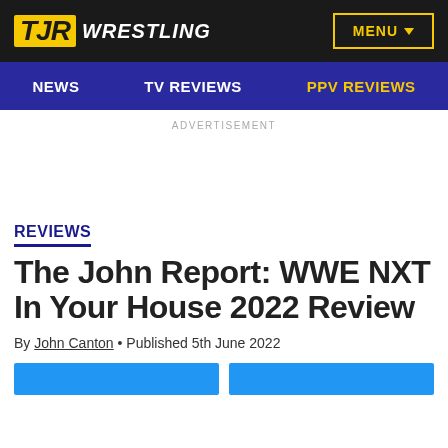[Figure (logo): TJR Wrestling logo on black background with menu button]
NEWS  TV REVIEWS  PPV REVIEWS
ADVERTISEMENT
REVIEWS
The John Report: WWE NXT In Your House 2022 Review
By John Canton • Published 5th June 2022